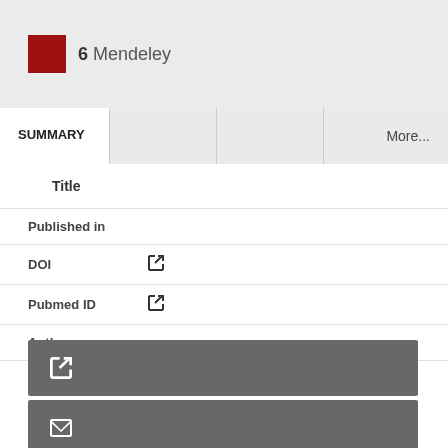6 Mendeley
SUMMARY
More...
Title
| Field | Value |
| --- | --- |
| Published in |  |
| DOI | 🔗 |
| Pubmed ID | 🔗 |
| Authors |  |
[Figure (other): Grey button bar with external link icon]
[Figure (other): Grey button bar with envelope/email icon]